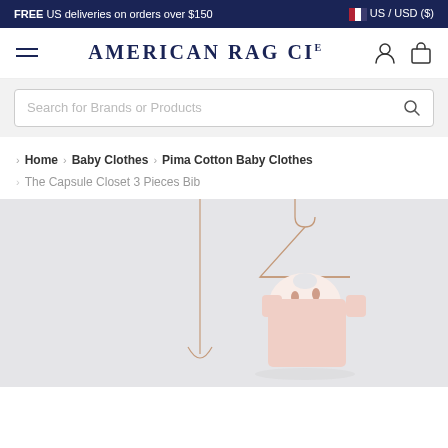FREE US deliveries on orders over $150  |  US / USD ($)
AMERICAN RAG CIE
Search for Brands or Products
Home > Baby Clothes > Pima Cotton Baby Clothes
The Capsule Closet 3 Pieces Bib
[Figure (photo): Baby bibs and onesie hanging on small rose gold wire hangers against a light grey background]